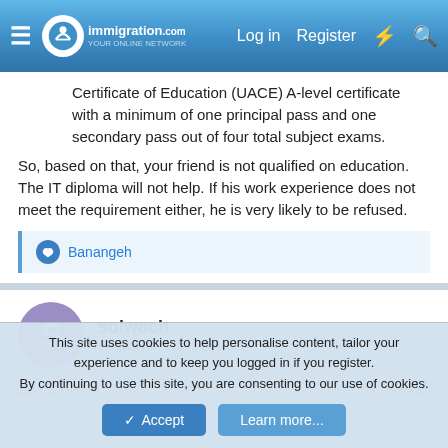immigration.com — Log in | Register
Certificate of Education (UACE) A-level certificate with a minimum of one principal pass and one secondary pass out of four total subject exams.
So, based on that, your friend is not qualified on education. The IT diploma will not help. If his work experience does not meet the requirement either, he is very likely to be refused.
👍 Banangeh
solwach
Registered Users (C)
Aug 4, 2015  #3,849
This site uses cookies to help personalise content, tailor your experience and to keep you logged in if you register.
By continuing to use this site, you are consenting to our use of cookies.